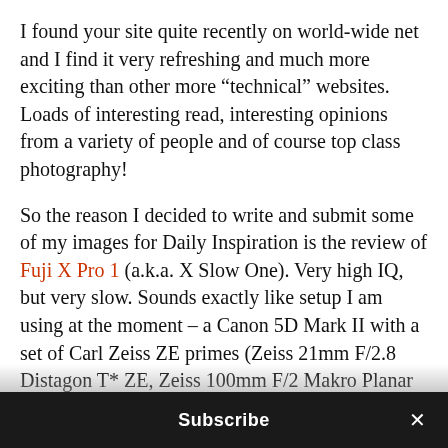I found your site quite recently on world-wide net and I find it very refreshing and much more exciting than other more “technical” websites. Loads of interesting read, interesting opinions from a variety of people and of course top class photography!
So the reason I decided to write and submit some of my images for Daily Inspiration is the review of Fuji X Pro 1 (a.k.a. X Slow One). Very high IQ, but very slow. Sounds exactly like setup I am using at the moment – a Canon 5D Mark II with a set of Carl Zeiss ZE primes (Zeiss 21mm F/2.8 Distagon T* ZE, Zeiss 100mm F/2 Makro Planar T* ZE and Zeiss 35mm F/1.4 Distagon T* ZE). Manual focus is slow (even with Canon’s EG-S Super Precision Matte Focusing Screen and extremely unreliable focus confirmation function) and mostly
Subscribe